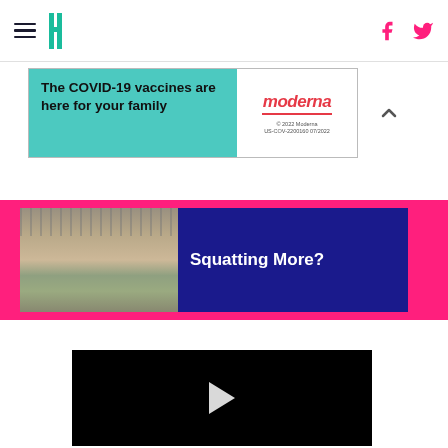HuffPost navigation header with hamburger menu, logo, Facebook and Twitter icons
[Figure (screenshot): Moderna COVID-19 vaccine advertisement banner: 'The COVID-19 vaccines are here for your family' with Moderna logo]
[Figure (photo): Person squatting on a beach or outdoor sandy area, wearing jeans and white sneakers]
Squatting More?
[Figure (screenshot): Black video player with white play button triangle in center]